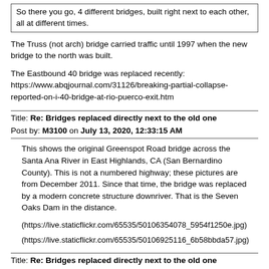So there you go, 4 different bridges, built right next to each other, all at different times.
The Truss (not arch) bridge carried traffic until 1997 when the new bridge to the north was built.
The Eastbound 40 bridge was replaced recently: https://www.abqjournal.com/31126/breaking-partial-collapse-reported-on-i-40-bridge-at-rio-puerco-exit.htm
Title: Re: Bridges replaced directly next to the old one
Post by: M3100 on July 13, 2020, 12:33:15 AM
This shows the original Greenspot Road bridge across the Santa Ana River in East Highlands, CA (San Bernardino County).  This is not a numbered highway; these pictures are from December 2011.  Since that time, the bridge was replaced by a modern concrete structure downriver.  That is the Seven Oaks Dam in the distance.
(https://live.staticflickr.com/65535/50106354078_5954f1250e.jpg)
(https://live.staticflickr.com/65535/50106925116_6b58bbda57.jpg)
Title: Re: Bridges replaced directly next to the old one
Post by: rte66man on July 14, 2020, 02:08:18 PM
My favorite is in Tulsa, OK: